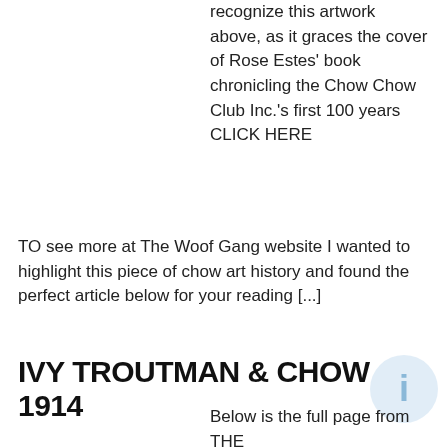recognize this artwork above, as it graces the cover of Rose Estes' book chronicling the Chow Chow Club Inc.'s first 100 years CLICK HERE TO see more at The Woof Gang website I wanted to highlight this piece of chow art history and found the perfect article below for your reading [...]
IVY TROUTMAN & CHOW 1914
Below is the full page from THE